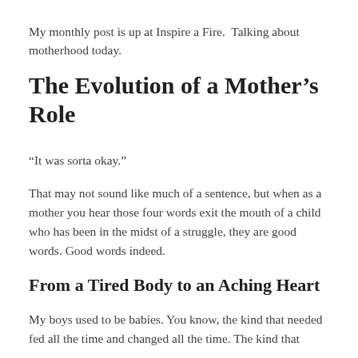My monthly post is up at Inspire a Fire.  Talking about motherhood today.
The Evolution of a Mother's Role
“It was sorta okay.”
That may not sound like much of a sentence, but when as a mother you hear those four words exit the mouth of a child who has been in the midst of a struggle, they are good words. Good words indeed.
From a Tired Body to an Aching Heart
My boys used to be babies. You know, the kind that needed fed all the time and changed all the time. The kind that